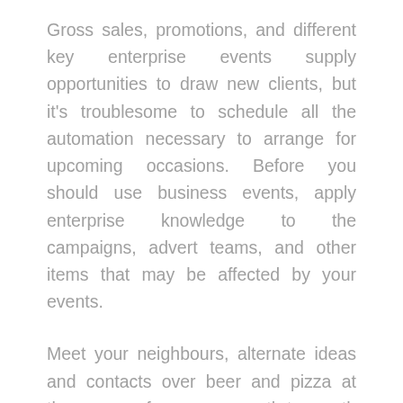Gross sales, promotions, and different key enterprise events supply opportunities to draw new clients, but it's troublesome to schedule all the automation necessary to arrange for upcoming occasions. Before you should use business events, apply enterprise knowledge to the campaigns, advert teams, and other items that may be affected by your events.
Meet your neighbours, alternate ideas and contacts over beer and pizza at these free month-to-month networking events. Bespoke Business Occasions is a leading occasion administration agency providing enterprise occasions experiences for each